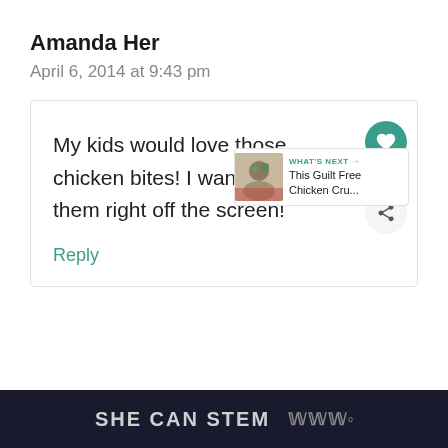Amanda Her
April 6, 2014 at 9:43 pm
My kids would love those chicken bites! I want to eat them right off the screen!
Reply
SHE CAN STEM